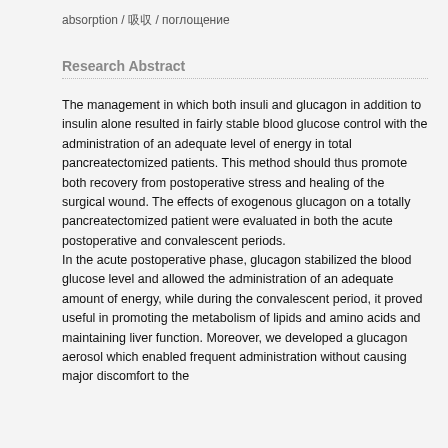absorption / 吸収 / поглощение
Research Abstract
The management in which both insuli and glucagon in addition to insulin alone resulted in fairly stable blood glucose control with the administration of an adequate level of energy in total pancreatectomized patients. This method should thus promote both recovery from postoperative stress and healing of the surgical wound. The effects of exogenous glucagon on a totally pancreatectomized patient were evaluated in both the acute postoperative and convalescent periods.
In the acute postoperative phase, glucagon stabilized the blood glucose level and allowed the administration of an adequate amount of energy, while during the convalescent period, it proved useful in promoting the metabolism of lipids and amino acids and maintaining liver function. Moreover, we developed a glucagon aerosol which enabled frequent administration without causing major discomfort to the